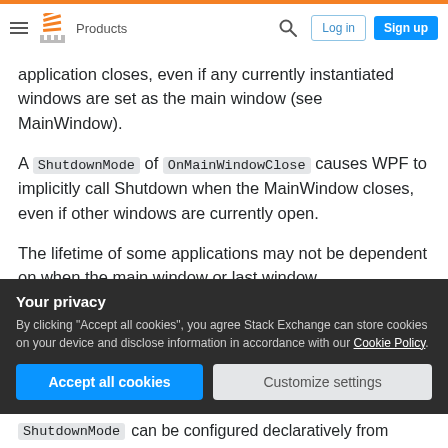Stack Overflow navigation bar with menu, logo, Products, search, Log in, Sign up
application closes, even if any currently instantiated windows are set as the main window (see MainWindow).
A ShutdownMode of OnMainWindowClose causes WPF to implicitly call Shutdown when the MainWindow closes, even if other windows are currently open.
The lifetime of some applications may not be dependent on when the main window or last window is closed...
Your privacy
By clicking "Accept all cookies", you agree Stack Exchange can store cookies on your device and disclose information in accordance with our Cookie Policy.
Accept all cookies
Customize settings
ShutdownMode can be configured declaratively from